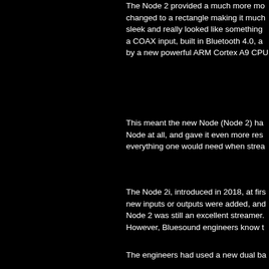The Node 2 provided a much more mo changed to a rectangle making it much sleek and really looked like something a COAX input, built in Bluetooth 4.0, a by a new powerful ARM Cortex A9 CPU
This meant the new Node (Node 2) ha Node at all, and gave it even more res everything one would need when strea
The Node 2i, introduced in 2018, at firs new inputs or outputs were added, and Node 2 was still an excellent streamer. However, Bluesound engineers know t
The engineers had used a new dual ba